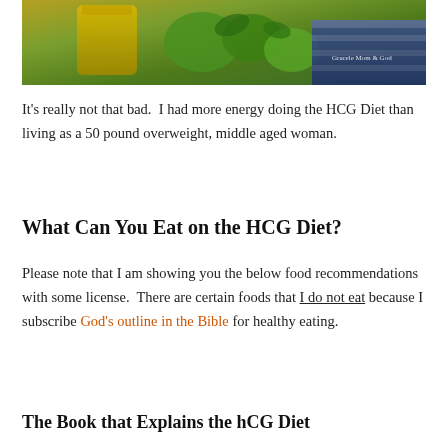[Figure (photo): Close-up photo of green limes/cucumbers and what appears to be a jar of oil or pickle juice on a blue and white striped surface, with a watermark reading 'Gracele Mom & God']
It's really not that bad.  I had more energy doing the HCG Diet than living as a 50 pound overweight, middle aged woman.
What Can You Eat on the HCG Diet?
Please note that I am showing you the below food recommendations with some license.  There are certain foods that I do not eat because I subscribe God's outline in the Bible for healthy eating.
The Book that Explains the hCG Diet